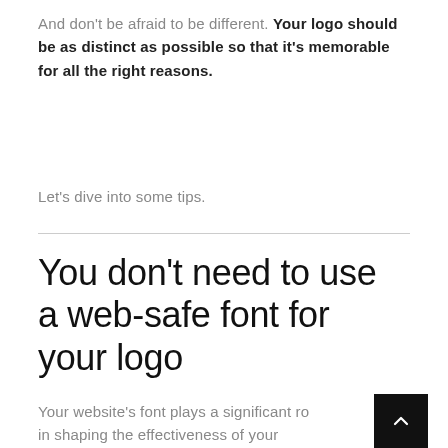And don't be afraid to be different. Your logo should be as distinct as possible so that it's memorable for all the right reasons.
Let's dive into some tips.
You don't need to use a web-safe font for your logo
Your website's font plays a significant ro in shaping the effectiveness of your